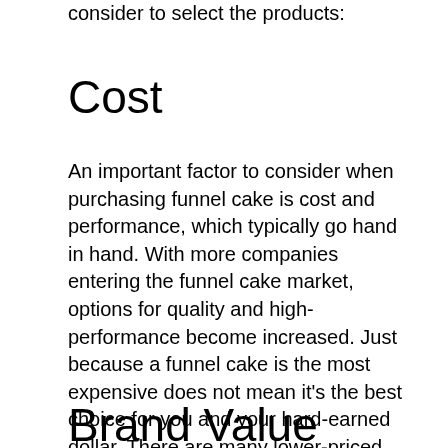consider to select the products:
Cost
An important factor to consider when purchasing funnel cake is cost and performance, which typically go hand in hand. With more companies entering the funnel cake market, options for quality and high-performance become increased. Just because a funnel cake is the most expensive does not mean it's the best choice for you and your hard-earned dollar. There are many lower-priced models available with very good performance and comfort.
Brand Value